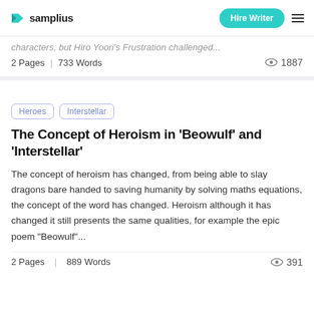samplius | Hire Writer
characters, but Hiro Yoori's Frustration challenged...
2 Pages | 733 Words  1887
Heroes
Interstellar
The Concept of Heroism in 'Beowulf' and 'Interstellar'
The concept of heroism has changed, from being able to slay dragons bare handed to saving humanity by solving maths equations, the concept of the word has changed. Heroism although it has changed it still presents the same qualities, for example the epic poem “Beowulf”...
2 Pages | 889 Words  391